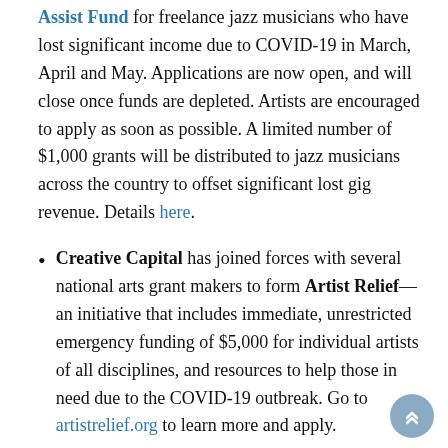Assist Fund for freelance jazz musicians who have lost significant income due to COVID-19 in March, April and May. Applications are now open, and will close once funds are depleted. Artists are encouraged to apply as soon as possible. A limited number of $1,000 grants will be distributed to jazz musicians across the country to offset significant lost gig revenue. Details here.
Creative Capital has joined forces with several national arts grant makers to form Artist Relief—an initiative that includes immediate, unrestricted emergency funding of $5,000 for individual artists of all disciplines, and resources to help those in need due to the COVID-19 outbreak. Go to artistrelief.org to learn more and apply.